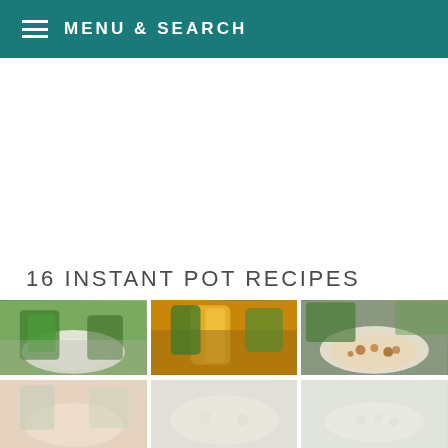MENU & SEARCH
16 INSTANT POT RECIPES
[Figure (photo): Grid of food photos showing various instant pot recipe dishes including green vegetables in a white bowl, butternut squash with herbs, lentil/bean dish in a bowl, and additional recipe photos partially visible in second row.]